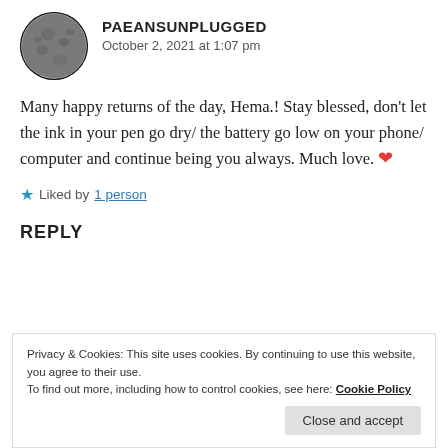[Figure (photo): Circular avatar photo showing a full moon against a dark background]
PAEANSUNPLUGGED
October 2, 2021 at 1:07 pm
Many happy returns of the day, Hema.! Stay blessed, don't let the ink in your pen go dry/ the battery go low on your phone/ computer and continue being you always. Much love. ❤
★ Liked by 1 person
REPLY
Privacy & Cookies: This site uses cookies. By continuing to use this website, you agree to their use.
To find out more, including how to control cookies, see here: Cookie Policy
Close and accept